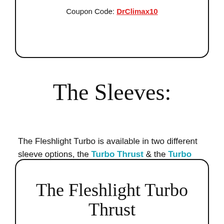Coupon Code: DrClimax10
The Sleeves:
The Fleshlight Turbo is available in two different sleeve options, the Turbo Thrust & the Turbo Ignition:
The Fleshlight Turbo Thrust